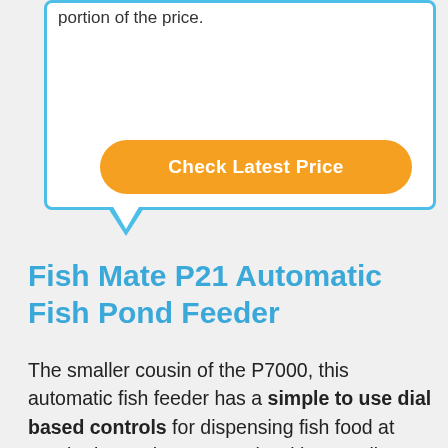portion of the price.
Check Latest Price
Fish Mate P21 Automatic Fish Pond Feeder
The smaller cousin of the P7000, this automatic fish feeder has a simple to use dial based controls for dispensing fish food at regular intervals. For people with a small backyard pond or a koi pond, this is one of the best automatic fish